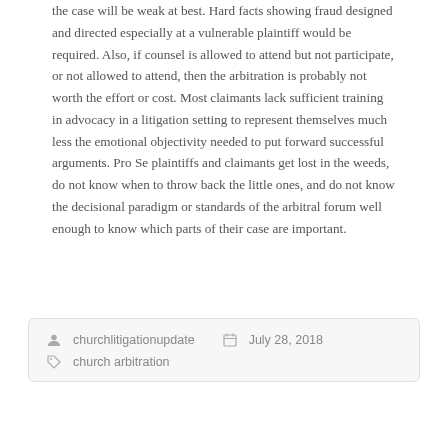the case will be weak at best. Hard facts showing fraud designed and directed especially at a vulnerable plaintiff would be required. Also, if counsel is allowed to attend but not participate, or not allowed to attend, then the arbitration is probably not worth the effort or cost. Most claimants lack sufficient training in advocacy in a litigation setting to represent themselves much less the emotional objectivity needed to put forward successful arguments. Pro Se plaintiffs and claimants get lost in the weeds, do not know when to throw back the little ones, and do not know the decisional paradigm or standards of the arbitral forum well enough to know which parts of their case are important.
churchlitigationupdate   July 28, 2018
church arbitration